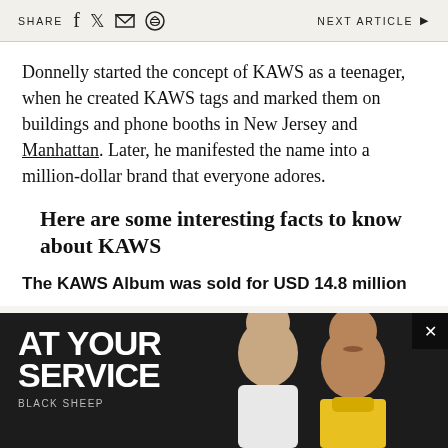SHARE  NEXT ARTICLE ▶
Donnelly started the concept of KAWS as a teenager, when he created KAWS tags and marked them on buildings and phone booths in New Jersey and Manhattan. Later, he manifested the name into a million-dollar brand that everyone adores.
Here are some interesting facts to know about KAWS
The KAWS Album was sold for USD 14.8 million
[Figure (photo): Advertisement banner with text 'AT YOUR SERVICE' and 'BLACK SHEEP' over a dark background with two people]